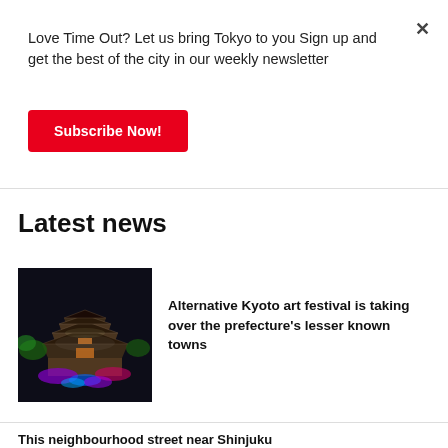Love Time Out? Let us bring Tokyo to you Sign up and get the best of the city in our weekly newsletter
Subscribe Now!
Latest news
[Figure (photo): Aerial night view of a Japanese castle or temple complex illuminated with colorful lights]
Alternative Kyoto art festival is taking over the prefecture's lesser known towns
This neighbourhood street near Shinjuku